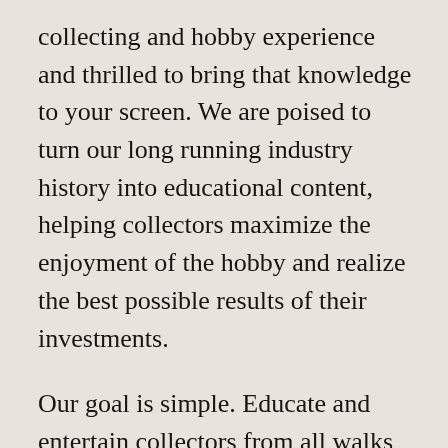collecting and hobby experience and thrilled to bring that knowledge to your screen. We are poised to turn our long running industry history into educational content, helping collectors maximize the enjoyment of the hobby and realize the best possible results of their investments.
Our goal is simple. Educate and entertain collectors from all walks of life about the best practices to get the most from their hobby. With videos and articles about collectibles, we will make sure you learn the needed information to build an amazing personal collection or make a solid financial investment for the future.
Our bios speak for themselves, but we are